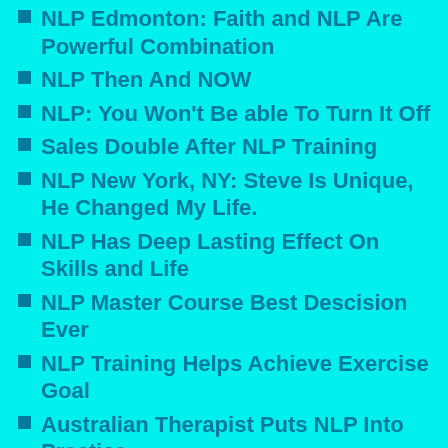NLP Edmonton: Faith and NLP Are Powerful Combination
NLP Then And NOW
NLP: You Won't Be able To Turn It Off
Sales Double After NLP Training
NLP New York, NY: Steve Is Unique, He Changed My Life.
NLP Has Deep Lasting Effect On Skills and Life
NLP Master Course Best Descision Ever
NLP Training Helps Achieve Exercise Goal
Australian Therapist Puts NLP Into Practice
NLP Training Delivers More Value Than Marketing Claims